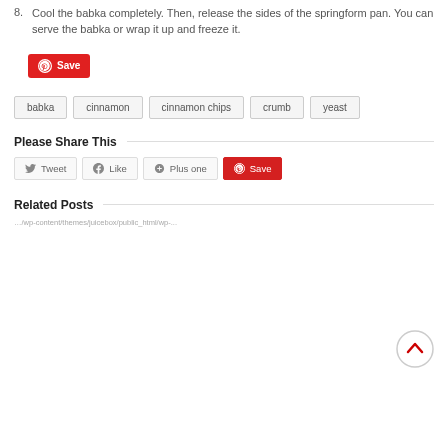8. Cool the babka completely. Then, release the sides of the springform pan. You can serve the babka or wrap it up and freeze it.
[Figure (other): Red Pinterest Save button]
babka   cinnamon   cinnamon chips   crumb   yeast
Please Share This
[Figure (other): Social share buttons: Tweet, Like, Plus one, Save (Pinterest)]
[Figure (other): Back to top circular button with chevron up icon]
Related Posts
…/wp-content/themes/juicebox/public_html/wp-...